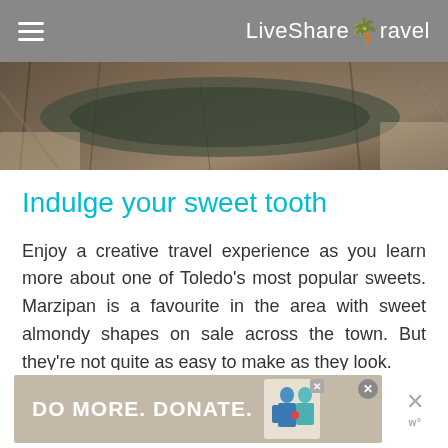LiveShareTravel
[Figure (photo): Aerial or overhead view of a stone/rocky surface with water, appearing to be ancient ruins or a rocky landscape, dark earthy tones]
Indulge your sweet tooth
Enjoy a creative travel experience as you learn more about one of Toledo's most popular sweets. Marzipan is a favourite in the area with sweet almondy shapes on sale across the town. But they're not quite as easy to make as they look.
[Figure (other): Advertisement banner reading DO MORE. DONATE. with two illustrated figures and close/dismiss buttons]